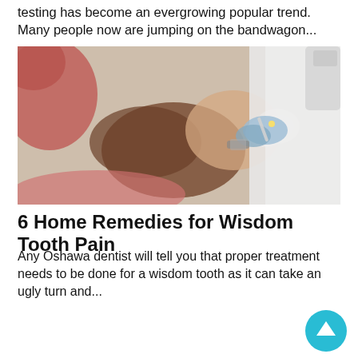testing has become an evergrowing popular trend. Many people now are jumping on the bandwagon...
[Figure (photo): A dentist wearing blue gloves examining a patient's mouth in a dental chair. The patient is reclined with their mouth open, and the dentist is using a light instrument.]
6 Home Remedies for Wisdom Tooth Pain
Any Oshawa dentist will tell you that proper treatment needs to be done for a wisdom tooth as it can take an ugly turn and...